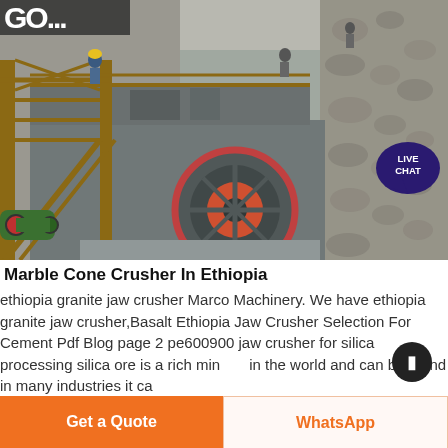[Figure (photo): Industrial jaw crusher / cone crusher machine at a quarry or mining site in Ethiopia. Large grey metal machinery with circular flywheel, metal scaffolding, workers visible, rocky cliff face in background. LIVE CHAT bubble overlay in top right.]
Marble Cone Crusher In Ethiopia
ethiopia granite jaw crusher Marco Machinery. We have ethiopia granite jaw crusher,Basalt Ethiopia Jaw Crusher Selection For Cement Pdf Blog page 2 pe600900 jaw crusher for silica processing silica ore is a rich mineral in the world and can be found in many industries it ca...
Get a Quote
WhatsApp